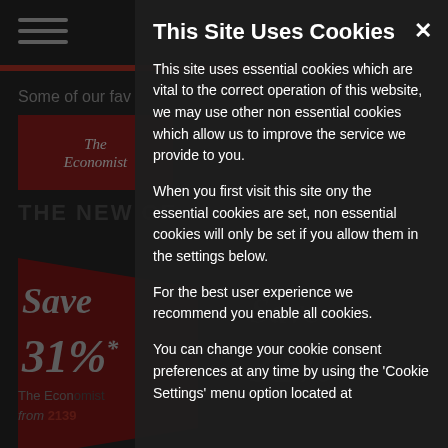[Figure (screenshot): Background website page showing The Economist subscription advertisement, partially obscured by cookie consent modal overlay]
This Site Uses Cookies
This site uses essential cookies which are vital to the correct operation of this website, we may use other non essential cookies which allow us to improve the service we provide to you.
When you first visit this site ony the essential cookies are set, non essential cookies will only be set if you allow them in the settings below.
For the best user experience we recommend you enable all cookies.
You can change your cookie consent preferences at any time by using the 'Cookie Settings' menu option located at